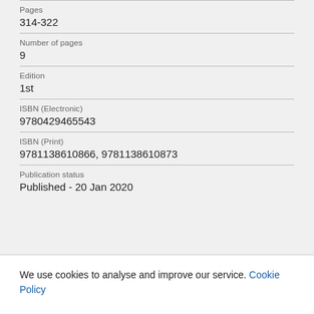Pages
314-322
Number of pages
9
Edition
1st
ISBN (Electronic)
9780429465543
ISBN (Print)
9781138610866, 9781138610873
Publication status
Published - 20 Jan 2020
We use cookies to analyse and improve our service. Cookie Policy